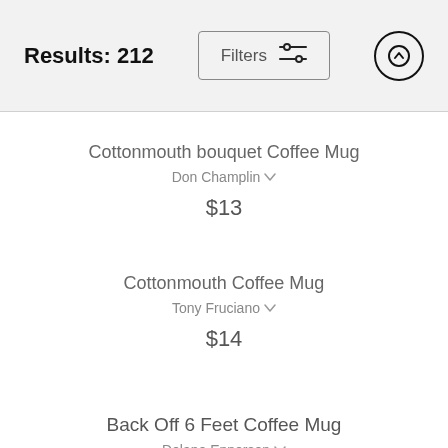Results: 212
Cottonmouth bouquet Coffee Mug
Don Champlin
$13
Cottonmouth Coffee Mug
Tony Fruciano
$14
Back Off 6 Feet Coffee Mug
Delane Epperson